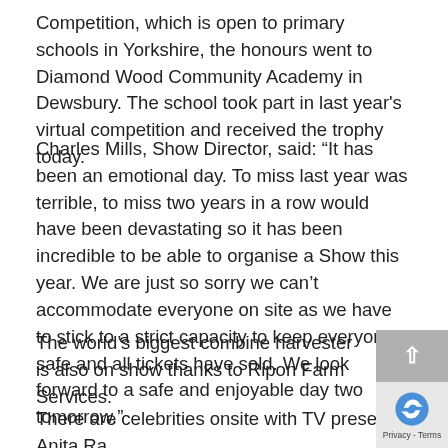Competition, which is open to primary schools in Yorkshire, the honours went to Diamond Wood Community Academy in Dewsbury. The school took part in last year's virtual competition and received the trophy today.
Charles Mills, Show Director, said: “It has been an emotional day. To miss last year was terrible, to miss two years in a row would have been devastating so it has been incredible to be able to organise a Show this year. We are just so sorry we can’t accommodate everyone on site as we have to stick to a strict capacity to keep everyone safe and all tickets have sold. We look forward to a safe and enjoyable day two tomorrow.”
The world’s biggest combine harvester is also on show thanks to Ripon Farm Services.
There are celebrities onsite with TV presenter Anita Ra… Jules Hudson filming a two-part TV series Today at The Grea…